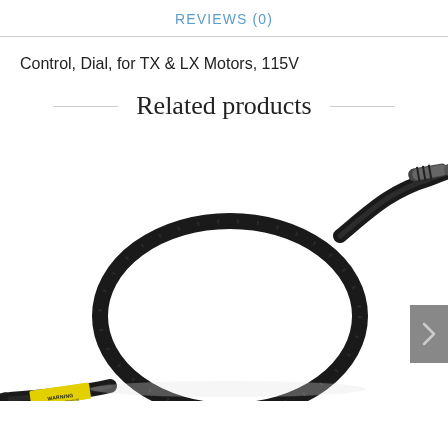REVIEWS (0)
Control, Dial, for TX & LX Motors, 115V
Related products
[Figure (photo): A coiled black cable/wire with a cylindrical metal tip on one end and a yellow WARNING label near the other end. The cable forms a large loop/coil shape against a white background.]